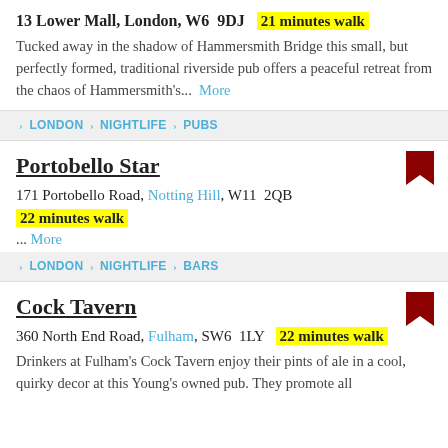13 Lower Mall, London, W6 9DJ  21 minutes walk
Tucked away in the shadow of Hammersmith Bridge this small, but perfectly formed, traditional riverside pub offers a peaceful retreat from the chaos of Hammersmith's... More
> LONDON > NIGHTLIFE > PUBS
Portobello Star
171 Portobello Road, Notting Hill, W11 2QB
22 minutes walk
... More
> LONDON > NIGHTLIFE > BARS
Cock Tavern
360 North End Road, Fulham, SW6 1LY  22 minutes walk
Drinkers at Fulham's Cock Tavern enjoy their pints of ale in a cool, quirky decor at this Young's owned pub. They promote all